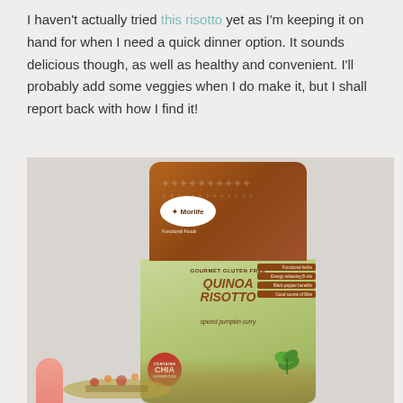I haven't actually tried this risotto yet as I'm keeping it on hand for when I need a quick dinner option. It sounds delicious though, as well as healthy and convenient. I'll probably add some veggies when I do make it, but I shall report back with how I find it!
[Figure (photo): A hand holding a Morlife Functional Foods Gourmet Gluten Free Quinoa Risotto (Spiced Pumpkin Curry) product bag. The bag has a brown top section and a green bottom section, with a Chia superfood badge on the lower left. Features listed on the bag include functional herbs, good source of fibre, and black pepper benefits.]